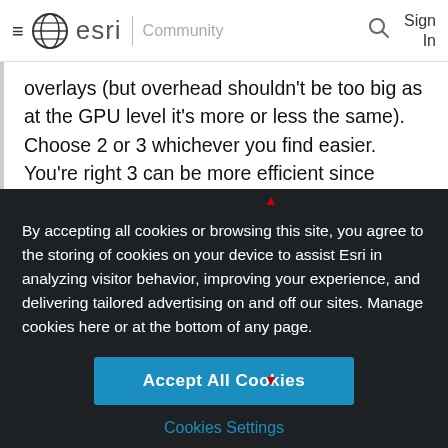≡ esri | Community  🔍  Sign In
overlays (but overhead shouldn't be too big as at the GPU level it's more or less the same). Choose 2 or 3 whichever you find easier. You're right 3 can be more efficient since symbols can get reused, but if you have a unique value for each graphic it won't really matter. That doesn't really matter until you have a lot of graphics sharing the same symbol.
By accepting all cookies or browsing this site, you agree to the storing of cookies on your device to assist Esri in analyzing visitor behavior, improving your experience, and delivering tailored advertising on and off our sites. Manage cookies here or at the bottom of any page.
Accept All Cookies
Cookies Settings